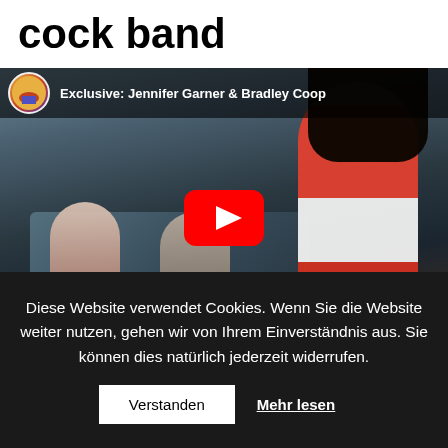cock band
[Figure (screenshot): YouTube video thumbnail showing 'Exclusive: Jennifer Garner & Bradley Coop' with two people in a car and a woman standing outside, with a red YouTube play button overlay]
Diese Website verwendet Cookies. Wenn Sie die Website weiter nutzen, gehen wir von Ihrem Einverständnis aus. Sie können dies natürlich jederzeit widerrufen.
Verstanden
Mehr lesen